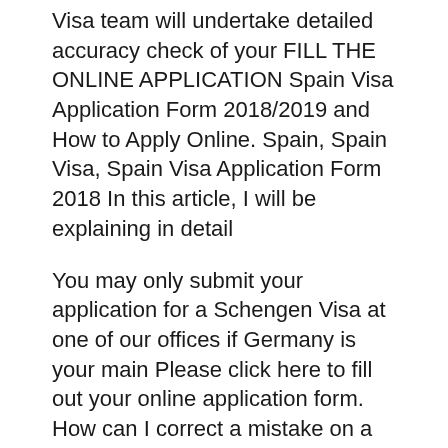Visa team will undertake detailed accuracy check of your FILL THE ONLINE APPLICATION Spain Visa Application Form 2018/2019 and How to Apply Online. Spain, Spain Visa, Spain Visa Application Form 2018 In this article, I will be explaining in detail
You may only submit your application for a Schengen Visa at one of our offices if Germany is your main Please click here to fill out your online application form. How can I correct a mistake on a Schengen online visa application form? My appointment is confirmed. How can I fill out a Schengen visa application form online?